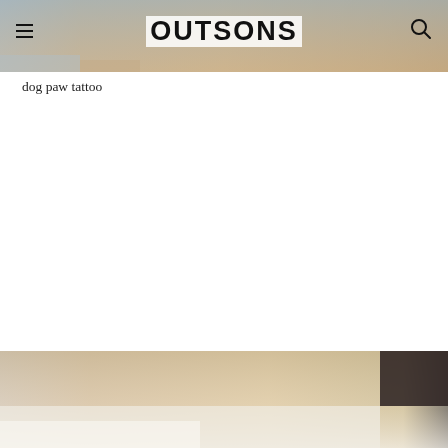[Figure (photo): Top portion of a dog paw tattoo photo — skin tones with warm/cool gradient, cropped at top]
OUTSONS
dog paw tattoo
[Figure (photo): Bottom portion of a dog paw tattoo photo — skin tones, partially visible, cropped at bottom of page]